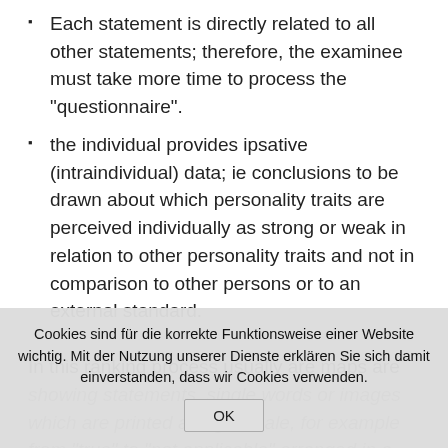Each statement is directly related to all other statements; therefore, the examinee must take more time to process the "questionnaire".
the individual provides ipsative (intraindividual) data; ie conclusions to be drawn about which personality traits are perceived individually as strong or weak in relation to other personality traits and not in comparison to other persons or to an external standard.
In this ranking process usually are maps are showing statements, single words or images which are printed along a scale, for example from "true" to "not applicable" arranged in a relative manner. In the Q-sort method the cards usually are ordered in